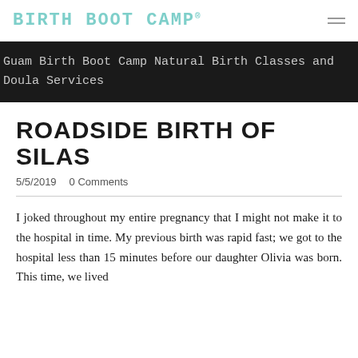BIRTH BOOT CAMP®
Guam Birth Boot Camp Natural Birth Classes and Doula Services
ROADSIDE BIRTH OF SILAS
5/5/2019   0 Comments
I joked throughout my entire pregnancy that I might not make it to the hospital in time. My previous birth was rapid fast; we got to the hospital less than 15 minutes before our daughter Olivia was born. This time, we lived